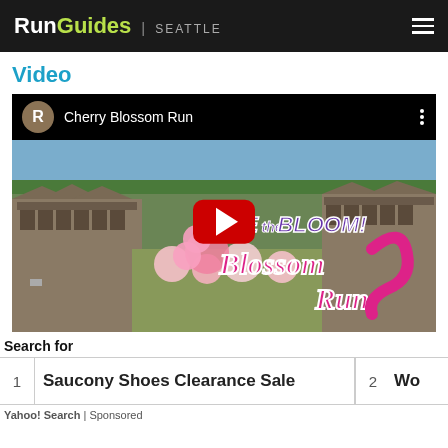RunGuides | SEATTLE
Video
[Figure (screenshot): YouTube video thumbnail for 'Cherry Blossom Run' showing aerial view of University of Washington campus with cherry blossoms, overlaid with 'Race the Bloom Blossom Run' event logo in pink and purple, and a YouTube play button in the center.]
Search for
1  Saucony Shoes Clearance Sale    2  Wo...
Yahoo! Search | Sponsored